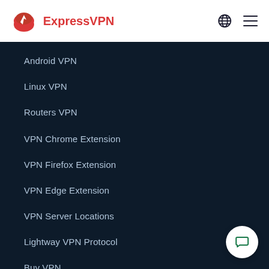[Figure (logo): ExpressVPN logo with red shield/bolt icon and red text 'ExpressVPN']
Android VPN
Linux VPN
Routers VPN
VPN Chrome Extension
VPN Firefox Extension
VPN Edge Extension
VPN Server Locations
Lightway VPN Protocol
Buy VPN
Learn More
What Is a VPN?
Top 5 VPN Uses